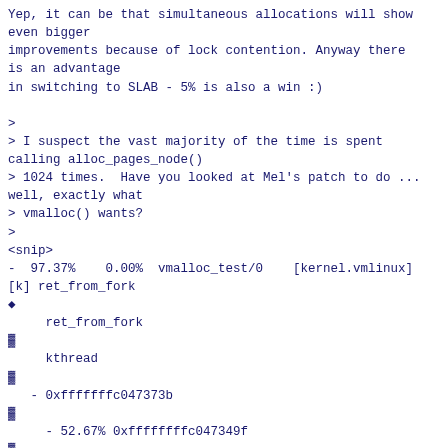Yep, it can be that simultaneous allocations will show even bigger
improvements because of lock contention. Anyway there is an advantage
in switching to SLAB - 5% is also a win :)

>
> I suspect the vast majority of the time is spent calling alloc_pages_node()
> 1024 times.  Have you looked at Mel's patch to do ... well, exactly what
> vmalloc() wants?
>
<snip>
-  97.37%    0.00%  vmalloc_test/0    [kernel.vmlinux]
[k] ret_from_fork
◆
     ret_from_fork
▓
     kthread
▓
   - 0xfffffffc047373b
▓
     - 52.67% 0xffffffffc047349f
▓
          __vmalloc_node
▓
        - __vmalloc_node_range
▓
          - 45.25% __alloc_pages_nodemask